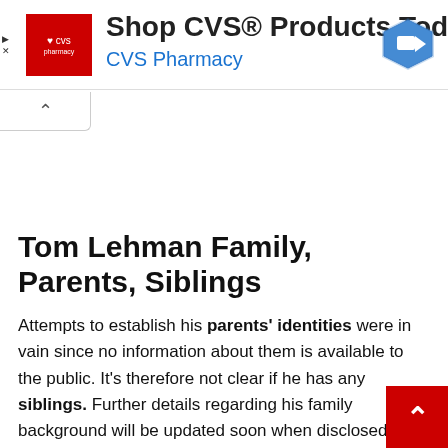[Figure (other): CVS Pharmacy advertisement banner with CVS logo, text 'Shop CVS® Products Today', 'CVS Pharmacy' link, and navigation arrow icon]
Tom Lehman Family, Parents, Siblings
Attempts to establish his parents' identities were in vain since no information about them is available to the public. It's therefore not clear if he has any siblings. Further details regarding his family background will be updated soon when disclosed.